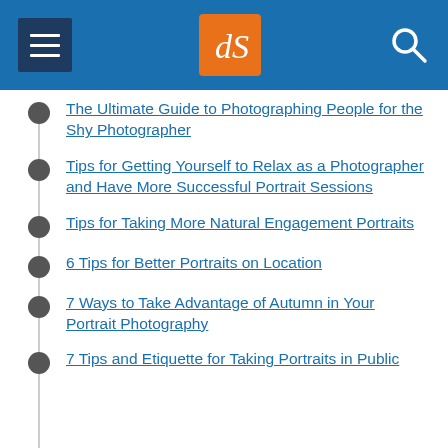dPS navigation header
The Ultimate Guide to Photographing People for the Shy Photographer
Tips for Getting Yourself to Relax as a Photographer and Have More Successful Portrait Sessions
Tips for Taking More Natural Engagement Portraits
6 Tips for Better Portraits on Location
7 Ways to Take Advantage of Autumn in Your Portrait Photography
7 Tips and Etiquette for Taking Portraits in Public